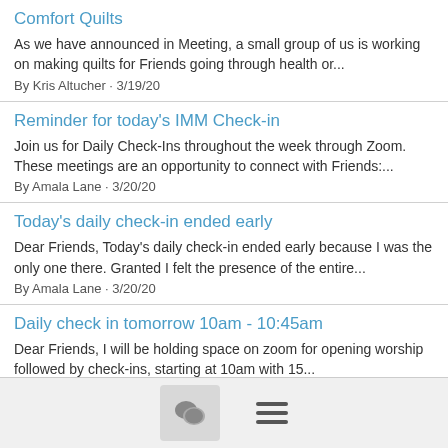Comfort Quilts
As we have announced in Meeting, a small group of us is working on making quilts for Friends going through health or...
By Kris Altucher · 3/19/20
Reminder for today's IMM Check-in
Join us for Daily Check-Ins throughout the week through Zoom. These meetings are an opportunity to connect with Friends:...
By Amala Lane · 3/20/20
Today's daily check-in ended early
Dear Friends, Today's daily check-in ended early because I was the only one there. Granted I felt the presence of the entire...
By Amala Lane · 3/20/20
Daily check in tomorrow 10am - 10:45am
Dear Friends, I will be holding space on zoom for opening worship followed by check-ins, starting at 10am with 15...
By Shirley Way · 3/21/20